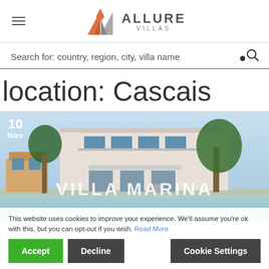Allure Villas
Search for: country, region, city, villa name
location: Cascais
[Figure (photo): Photo of Villa Marina in Cascais, showing a modern white two-story villa with balconies and large trees, with blue sky background and a pool in front]
This website uses cookies to improve your experience. We'll assume you're ok with this, but you can opt-out if you wish. Read More
Accept   Decline   Cookie Settings